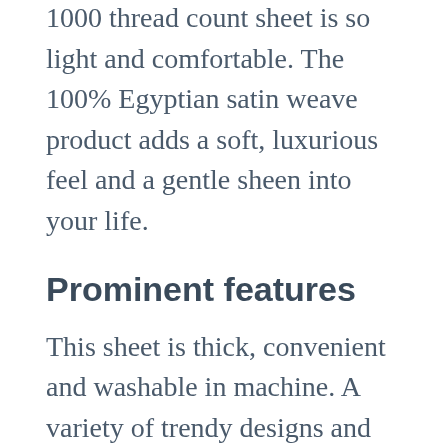1000 thread count sheet is so light and comfortable. The 100% Egyptian satin weave product adds a soft, luxurious feel and a gentle sheen into your life.
Prominent features
This sheet is thick, convenient and washable in machine. A variety of trendy designs and solid colors are available in the button-closure duvet covers to match your and coordinate with your décor. The color of digital images that are displayed on the